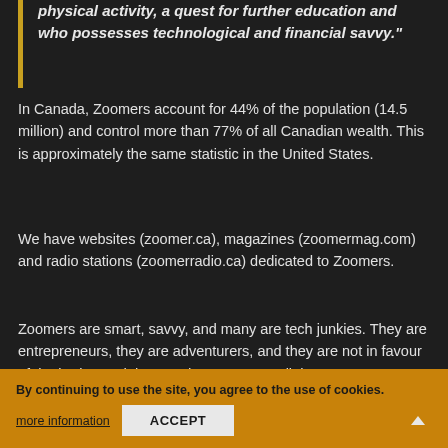physical activity, a quest for further education and who possesses technological and financial savvy."
In Canada, Zoomers account for 44% of the population (14.5 million) and control more than 77% of all Canadian wealth. This is approximately the same statistic in the United States.
We have websites (zoomer.ca), magazines (zoomermag.com) and radio stations (zoomerradio.ca) dedicated to Zoomers.
Zoomers are smart, savvy, and many are tech junkies. They are entrepreneurs, they are adventurers, and they are not in favour of the boring and the mundane. Do not call them Mr. or Mrs., they are not old enough for that. Do not bring up genealogy, large print books, or offer them a trip to the casino. Do not tailor content to them and cringe at the thought of using a senior's discount.